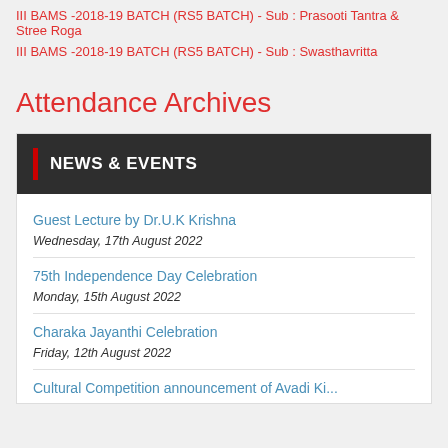III BAMS -2018-19 BATCH (RS5 BATCH) - Sub : Prasooti Tantra & Stree Roga
III BAMS -2018-19 BATCH (RS5 BATCH) - Sub : Swasthavritta
Attendance Archives
NEWS & EVENTS
Guest Lecture by Dr.U.K Krishna
Wednesday, 17th August 2022
75th Independence Day Celebration
Monday, 15th August 2022
Charaka Jayanthi Celebration
Friday, 12th August 2022
Cultural Competition announcement of Avadi Ki...